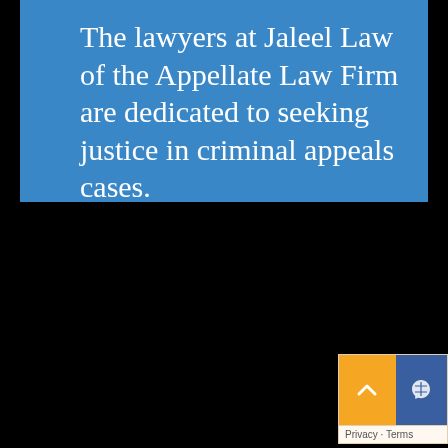The lawyers at Jaleel Law of the Appellate Law Firm are dedicated to seeking justice in criminal appeals cases.
[Figure (screenshot): Dark/black background area occupying the lower two-thirds of the page, with a small UI widget in the bottom-right corner showing an orange button with an up-arrow chevron and a blue reCAPTCHA-style icon, plus 'Privacy · Terms' text.]